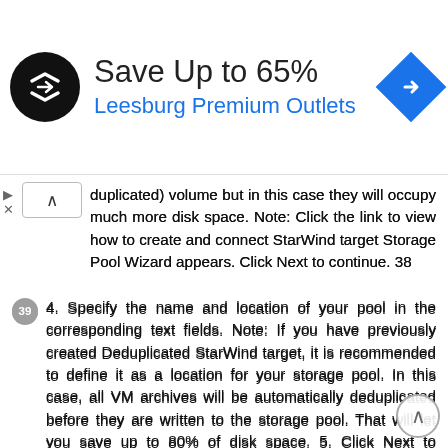[Figure (infographic): Advertisement banner: StarWind logo (black circle with double arrow icon), 'Save Up to 65%' text, 'Leesburg Premium Outlets' in blue, blue diamond navigation icon on right]
duplicated) volume but in this case they will occupy much more disk space. Note: Click the link to view how to create and connect StarWind target Storage Pool Wizard appears. Click Next to continue. 38
4. Specify the name and location of your pool in the corresponding text fields. Note: If you have previously created Deduplicated StarWind target, it is recommended to define it as a location for your storage pool. In this case, all VM archives will be automatically deduplicated before they are written to the storage pool. That will let you save up to 80% of disk space. 5. Click Next to continue. 6. Specify the maximum number of stored archives per a VM in the corresponding text field. 7. Click Next to continue. 39
8. Make sure you have specified the correct settings. Click Back if you need to make any changes. Click Next to continue. Click Finish to close the wizard. 40